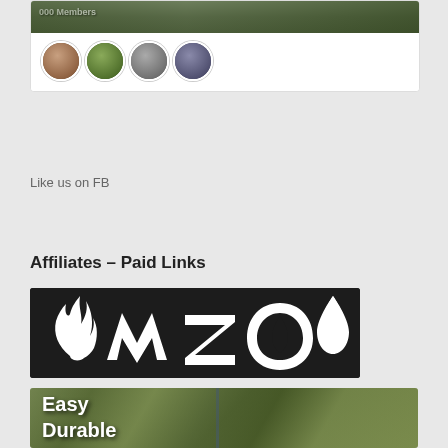[Figure (photo): Group photo banner with text '000 Members' and four circular avatar profile photos below]
Like us on FB
Affiliates – Paid Links
[Figure (logo): MAZOO logo - white stylized text on black background with flame and water drop icons]
[Figure (photo): Outdoor nature photo with white text reading 'Easy' and 'Durable' overlaid]